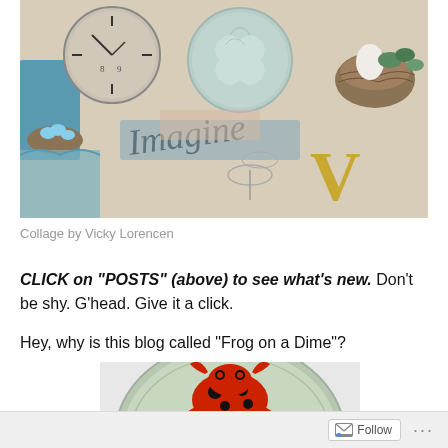[Figure (photo): Collage of various objects including a clock, a round container with a floral design, a bird's nest with blue eggs, a bird's nest with an egg and succulents, decorative fabric, a wire dragonfly, and a brass letter V, with cursive text reading 'Imagine']
Collage by Vicky Lorencen
CLICK on "POSTS" (above) to see what's new. Don't be shy. G'head. Give it a click.
Hey, why is this blog called “Frog on a Dime”?
[Figure (photo): A red and black frog clinging to a US dime (coin), showing the word LIBERTY on the coin]
Follow ...